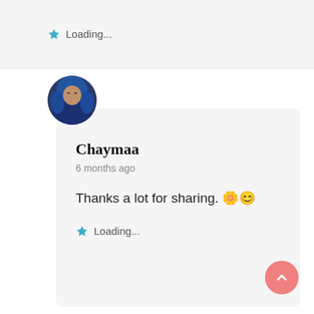Loading...
[Figure (photo): Circular avatar photo of a person wearing a blue hijab]
Chaymaa
6 months ago
Thanks a lot for sharing. 🌸😊
Loading...